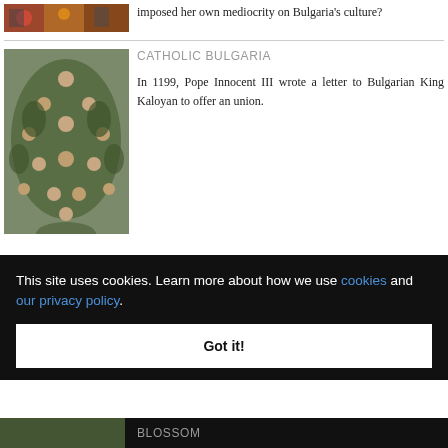[Figure (photo): Colorful artwork/mural image at top]
imposed her own mediocrity on Bulgaria's culture?
[Figure (photo): Group of people arranged in a tree-like formation, painted artwork showing multiple faces among foliage]
CATHOLIC BULGARIA
In 1199, Pope Innocent III wrote a letter to Bulgarian King Kaloyan to offer an union.
This site uses cookies. Learn more about how we use cookies and our privacy policy.
Got it!
BLOSSOM